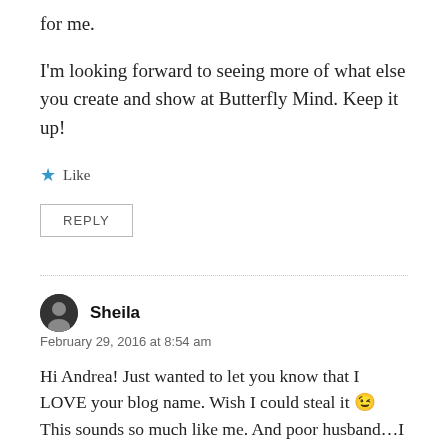for me.
I'm looking forward to seeing more of what else you create and show at Butterfly Mind. Keep it up!
★ Like
REPLY
Sheila
February 29, 2016 at 8:54 am
Hi Andrea! Just wanted to let you know that I LOVE your blog name. Wish I could steal it 😉 This sounds so much like me. And poor husband…I think I kind of drive him crazy. But butterflies have voices too, don't they? At least,